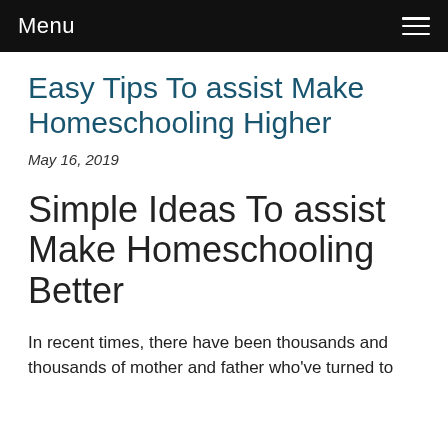Menu
Easy Tips To assist Make Homeschooling Higher
May 16, 2019
Simple Ideas To assist Make Homeschooling Better
In recent times, there have been thousands and thousands of mother and father who've turned to homeschooling. There are those who do so as a